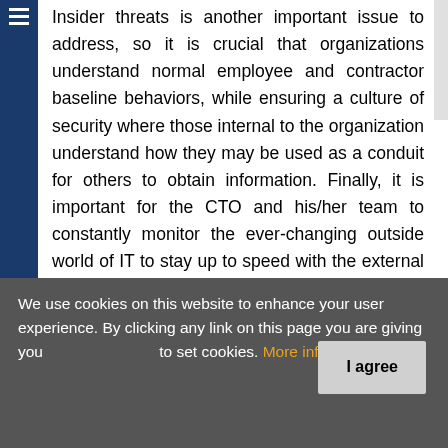Insider threats is another important issue to address, so it is crucial that organizations understand normal employee and contractor baseline behaviors, while ensuring a culture of security where those internal to the organization understand how they may be used as a conduit for others to obtain information. Finally, it is important for the CTO and his/her team to constantly monitor the ever-changing outside world of IT to stay up to speed with the external threat landscape. The firm's ability to respond to an attack is crucial–in a swift manner that ultimately minimizes the impact and recovers back to normal operations as quickly and effectively as possible.
Many organizations are still operating with
We use cookies on this website to enhance your user experience. By clicking any link on this page you are giving you to set cookies. More info